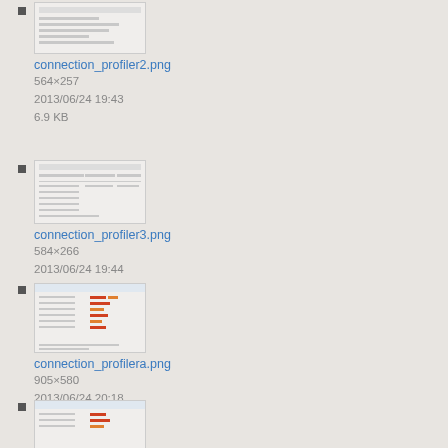connection_profiler2.png
564×257
2013/06/24 19:43
6.9 KB
connection_profiler3.png
584×266
2013/06/24 19:44
10.9 KB
connection_profilera.png
905×580
2013/06/24 20:18
31.7 KB
connection_profilerb.png